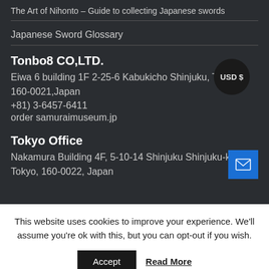The Art of Nihonto – Guide to collecting Japanese swords
Japanese Sword Glossary
Tonbo8 CO,LTD.
Eiwa 6 building 1F 2-25-6 Kabukicho Shinjuku, Tokyo 160-0021,Japan
+81) 3-6457-6411
order@samuraimuseum.jp
USD $
Tokyo Office
Nakamura Building 4F, 5-10-14 Shinjuku Shinjuku-ku
Tokyo,  160-0022, Japan
This website uses cookies to improve your experience. We'll assume you're ok with this, but you can opt-out if you wish.
Accept   Read More